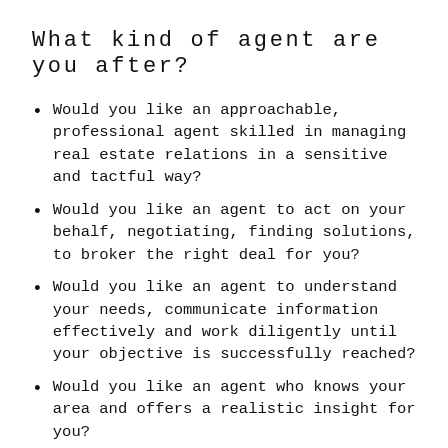What kind of agent are you after?
Would you like an approachable, professional agent skilled in managing real estate relations in a sensitive and tactful way?
Would you like an agent to act on your behalf, negotiating, finding solutions, to broker the right deal for you?
Would you like an agent to understand your needs, communicate information effectively and work diligently until your objective is successfully reached?
Would you like an agent who knows your area and offers a realistic insight for you?
Would you like an agent that knows what works and what doesn't, what obstacles may